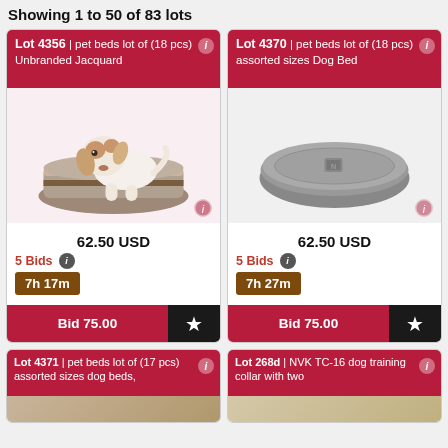Showing 1 to 50 of 83 lots
[Figure (photo): Jack Russell terrier dog sitting on a grey and brown square pet bed cushion]
Lot 4356 | pet beds lot of (18 pcs) Unbranded Jacquard
62.50 USD
5 Bids
7h 17m
Bid 75.00
[Figure (photo): Grey flat rectangular dog bed/mat on white background]
Lot 4370 | pet beds lot of (18 pcs) assorted sizes Dog Bed
62.50 USD
5 Bids
7h 27m
Bid 75.00
Lot 4371 | pet beds lot of (17 pcs) assorted sizes dog beds,
Lot 268d | NVK TC-16 dog training collar with two